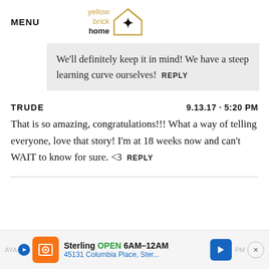MENU | yellow brick home logo
We'll definitely keep it in mind! We have a steep learning curve ourselves!  REPLY
TRUDE  9.13.17 · 5:20 PM
That is so amazing, congratulations!!! What a way of telling everyone, love that story! I'm at 18 weeks now and can't WAIT to know for sure. <3  REPLY
Sterling  OPEN  6AM–12AM
45131 Columbia Place, Ster...